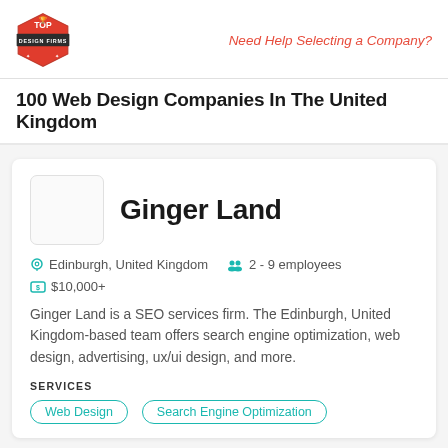Top Design Firms | Need Help Selecting a Company?
100 Web Design Companies In The United Kingdom
Ginger Land
Edinburgh, United Kingdom  2 - 9 employees  $10,000+
Ginger Land is a SEO services firm. The Edinburgh, United Kingdom-based team offers search engine optimization, web design, advertising, ux/ui design, and more.
SERVICES
Web Design
Search Engine Optimization